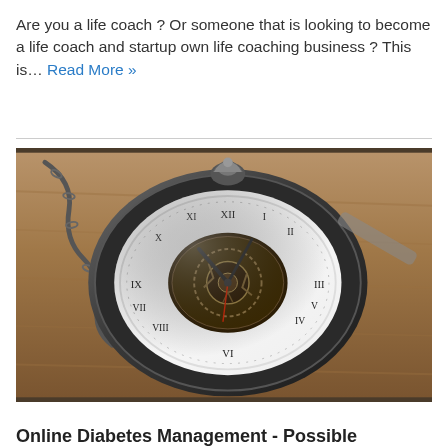Are you a life coach ? Or someone that is looking to become a life coach and startup own life coaching business ? This is… Read More »
[Figure (photo): A vintage mechanical pocket watch with a skeleton (open-heart) dial showing Roman numerals, resting on a wooden surface with a chain attached.]
Online Diabetes Management - Possible